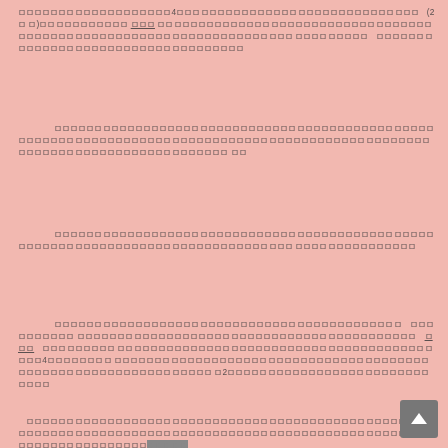ロロロロロロロロロロロロロロロロロロロ4ロロロロロロロロロロロロロロロロロロロロロロロロロロロロロロ　(2ロロ)ロロロロロロロロロロロロ ロロロロロロロロロロロロロロロロロロロロロロロロロロロロロロロロロロロロロロロロロロロロロロロロロロロロロロロロロロロロロロ
ロロロロロロロロロロロロロロロロロロロロロロロロロロロロロロロロロロロロロロロロロロロロロロロロロロロロロロロロロロロロロロロロロロロロロロロロロロロロロロロロロロロロロロロロロロロロロロロロロロロロロロロロロロロロロロロロロロロロロロ
ロロロロロロロロロロロロロロロロロロロロロロロロロロロロロロロロロロロロロロロロロロロロロロロロロロロロロロロロロロロロロロロロロロロロロロロロロ
ロロロロロロロロロロロロロロロロロロロロロロロロロロロロロロロロロロロロロロロロロロロロロロロロロロ　ロロロロロロロロロロロロロロロロロロロロロロロロロロロロロロロロロロロロロロロロ　ロロロロロロロロロロロロロロロロロロロロロロロロロロロロロロロロロロロロロロロロロロロロロ4ロロロロロロロロロロロロロロロロロロロロロロロロロロロロロロロロロロロロロロロロロロロロロロロロロロロロロロロロロロロロロロロロロロロ2ロロロロロロロロロロロロロロロロロロロロロロロロロロロ
ロロロロロロロロロロロロロロロロロロロロロロロロロロロロロロロロロロロロロロロロロロロロロロロロロロロロロロロロロロロロロロロロロロロロロロロロロロロロロロロロロロロロロロロロロロロロロロロロロロロロロロロロロロロロロロロロロロロロロ